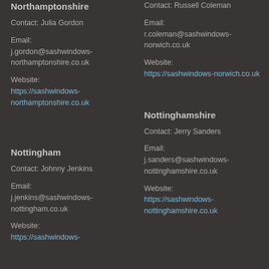Northamptonshire
Contact: Julia Gordon
Email:
j.gordon@sashwindows-northamptonshire.co.uk
Website:
https://sashwindows-northamptonshire.co.uk
Contact: Russell Coleman
Email:
r.coleman@sashwindows-norwich.co.uk
Website:
https://sashwindows-norwich.co.uk
Nottingham
Contact: Johnny Jenkins
Email:
j.jenkins@sashwindows-nottingham.co.uk
Website:
https://sashwindows-
Nottinghamshire
Contact: Jerry Sanders
Email:
j.sanders@sashwindows-nottinghamshire.co.uk
Website:
https://sashwindows-nottinghamshire.co.uk